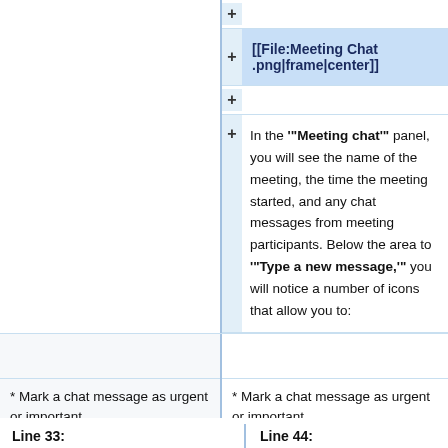| Line 33: | Line 44: |
| --- | --- |
|  | [[File:Meeting Chat .png|frame|center]] |
|  |  |
|  | In the '"Meeting chat'" panel, you will see the name of the meeting, the time the meeting started, and any chat messages from meeting participants. Below the area to '"Type a new message,'" you will notice a number of icons that allow you to: |
| * Mark a chat message as urgent or important | * Mark a chat message as urgent or important |
Line 33:
Line 44: